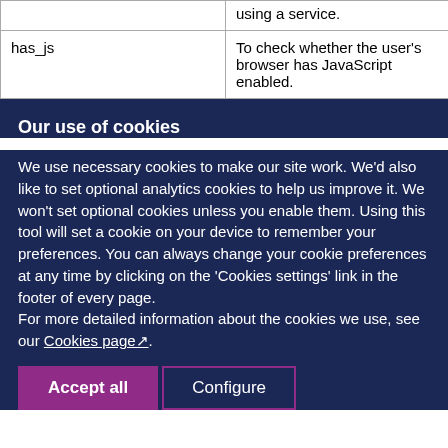|  |  |  |
| --- | --- | --- |
|  | using a service. |  |
| has_js | To check whether the user's browser has JavaScript enabled. | when you exit the browser |
Our use of cookies
We use necessary cookies to make our site work. We'd also like to set optional analytics cookies to help us improve it. We won't set optional cookies unless you enable them. Using this tool will set a cookie on your device to remember your preferences. You can always change your cookie preferences at any time by clicking on the 'Cookies settings' link in the footer of every page.
For more detailed information about the cookies we use, see our Cookies page.